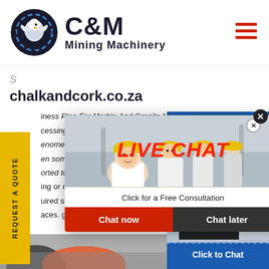[Figure (logo): C&M Mining Machinery logo with eagle/gear circle emblem]
chalkandcork.co.za
iness Plan For Marble And Granite Mining And cessing. enomeno en some orted to ing or cutting of raw blocks into uired size thickness and polishin aces. granite mining business
[Figure (screenshot): Live chat popup overlay with workers in hard hats, LIVE CHAT text in red, Click for a Free Consultation subtitle, Chat now and Chat later buttons]
[Figure (screenshot): Right side chat widget showing Hours Online bar, female agent with headset, Click to Chat button, and Enquiry text]
[Figure (photo): Bottom strip showing partial industrial/mining machinery photo]